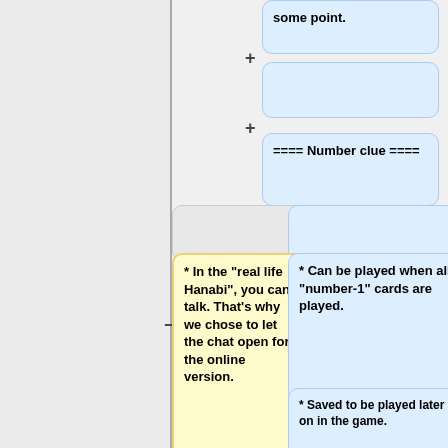some point.
==== Number clue ====
* In the "real life Hanabi", you can talk. That's why we chose to let the chat open for the online version.
* Can be played when all "number-1" cards are played.
* Saved to be played later on in the game.
** "Saved cards are usually played from...